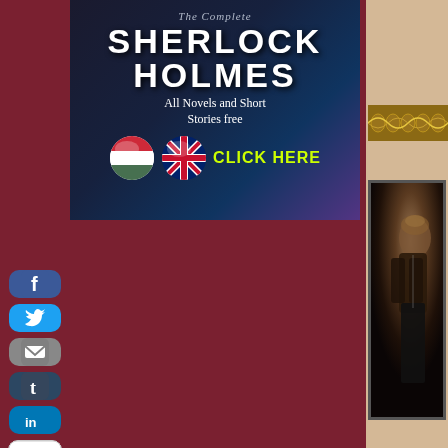[Figure (illustration): Sherlock Holmes book banner advertisement showing 'The Complete Sherlock Holmes - All Novels and Short Stories free - CLICK HERE' with Hungarian and British flag icons]
[Figure (illustration): Social media icon buttons on left sidebar: Facebook, Twitter, Email, Tumblr, LinkedIn, Reddit]
[Figure (photo): Dark atmospheric photo of a person (likely Sherlock Holmes character) in shadow on right panel]
[Figure (illustration): Ornamental decorative band/border with scrollwork pattern in gold/brown tones on right panel]